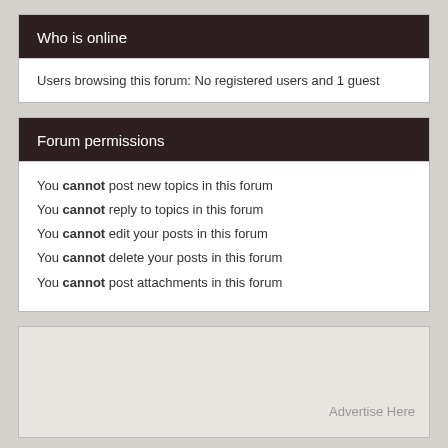Who is online
Users browsing this forum: No registered users and 1 guest
Forum permissions
You cannot post new topics in this forum
You cannot reply to topics in this forum
You cannot edit your posts in this forum
You cannot delete your posts in this forum
You cannot post attachments in this forum
[Figure (other): Advertisement placeholder box with 'Advertise Here' text]
Board index  The team • Delete all board cookies • All times are UTC